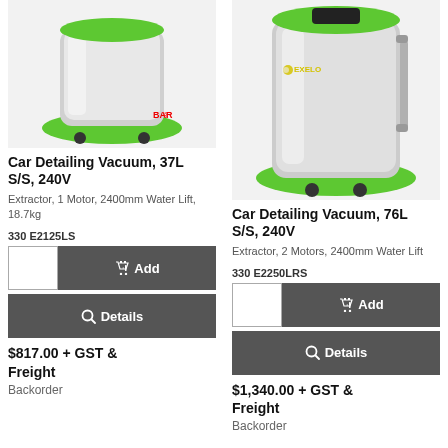[Figure (photo): Car Detailing Vacuum, 37L S/S, 240V - stainless steel cylindrical vacuum with green base and BAR logo]
Car Detailing Vacuum, 37L S/S, 240V
Extractor, 1 Motor, 2400mm Water Lift, 18.7kg
330 E2125LS
[Figure (photo): Car Detailing Vacuum, 76L S/S, 240V - large stainless steel cylindrical vacuum with green base and EXELO logo]
Car Detailing Vacuum, 76L S/S, 240V
Extractor, 2 Motors, 2400mm Water Lift
330 E2250LRS
$817.00 + GST & Freight
Backorder
$1,340.00 + GST & Freight
Backorder